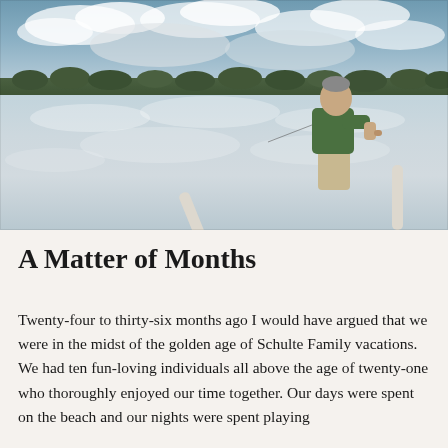[Figure (photo): A man in a green shirt and tan shorts fishing from a dock on a calm lake. Clouds are reflected in the still water. Green treeline visible in the background under a partly cloudy sky. Two white PVC poles visible on the dock.]
A Matter of Months
Twenty-four to thirty-six months ago I would have argued that we were in the midst of the golden age of Schulte Family vacations. We had ten fun-loving individuals all above the age of twenty-one who thoroughly enjoyed our time together. Our days were spent on the beach and our nights were spent playing